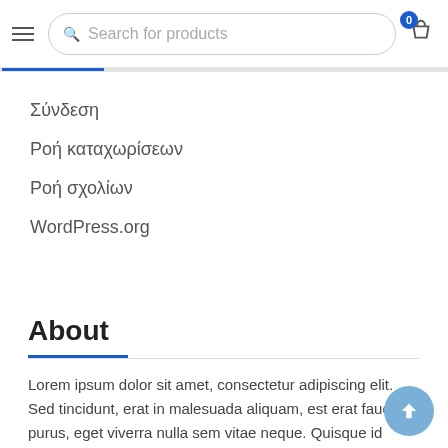Search for products
Σύνδεση
Ροή καταχωρίσεων
Ροή σχολίων
WordPress.org
About
Lorem ipsum dolor sit amet, consectetur adipiscing elit. Sed tincidunt, erat in malesuada aliquam, est erat faucibus purus, eget viverra nulla sem vitae neque. Quisque id sodales libero.